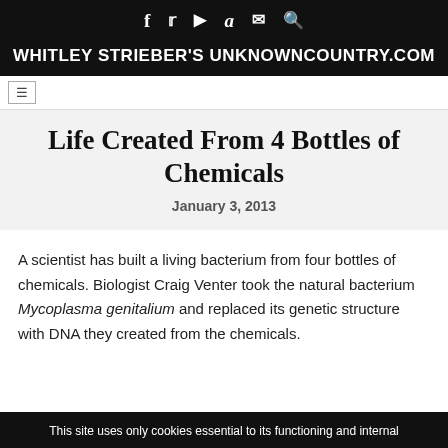f  ▶  a  ✉  🔍
WHITLEY STRIEBER'S UNKNOWNCOUNTRY.COM
Life Created From 4 Bottles of Chemicals
January 3, 2013
A scientist has built a living bacterium from four bottles of chemicals. Biologist Craig Venter took the natural bacterium Mycoplasma genitalium and replaced its genetic structure with DNA they created from the chemicals.
This site uses only cookies essential to its functioning and internal